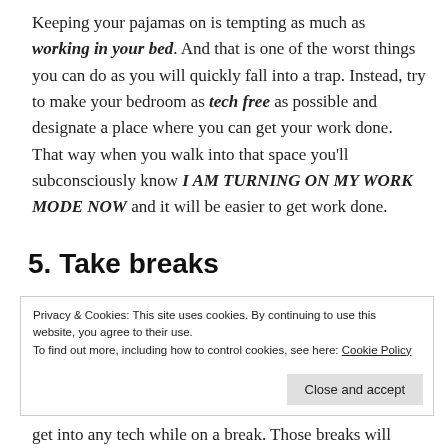Keeping your pajamas on is tempting as much as working in your bed. And that is one of the worst things you can do as you will quickly fall into a trap. Instead, try to make your bedroom as tech free as possible and designate a place where you can get your work done. That way when you walk into that space you'll subconsciously know I AM TURNING ON MY WORK MODE NOW and it will be easier to get work done.
5. Take breaks
Privacy & Cookies: This site uses cookies. By continuing to use this website, you agree to their use.
To find out more, including how to control cookies, see here: Cookie Policy
Close and accept
get into any tech while on a break. Those breaks will